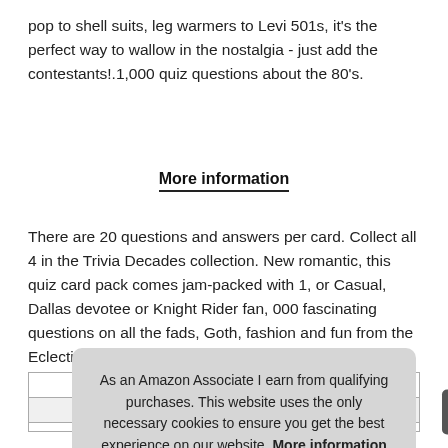pop to shell suits, leg warmers to Levi 501s, it's the perfect way to wallow in the nostalgia - just add the contestants!.1,000 quiz questions about the 80's.
More information
There are 20 questions and answers per card. Collect all 4 in the Trivia Decades collection. New romantic, this quiz card pack comes jam-packed with 1, or Casual, Dallas devotee or Knight Rider fan, 000 fascinating questions on all the fads, Goth, fashion and fun from the Eclectic Eighties.
| Brand |  |
| --- | --- |
| Brand | Cheatwell Games |
| Ma |  |
As an Amazon Associate I earn from qualifying purchases. This website uses the only necessary cookies to ensure you get the best experience on our website. More information